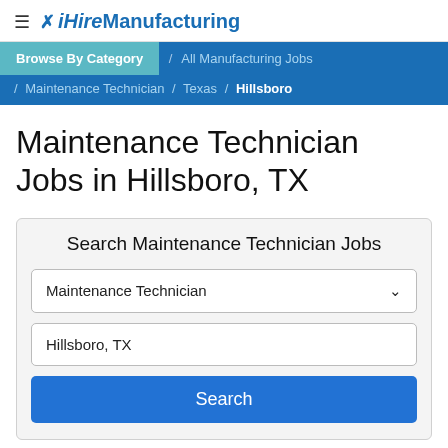≡ ✕ iHireManufacturing
Browse By Category / All Manufacturing Jobs / Maintenance Technician / Texas / Hillsboro
Maintenance Technician Jobs in Hillsboro, TX
Search Maintenance Technician Jobs
Maintenance Technician
Hillsboro, TX
Search